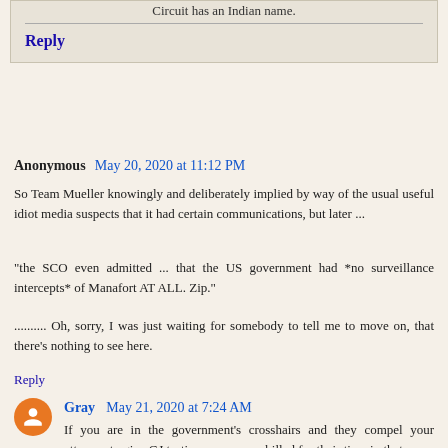Circuit has an Indian name.
Reply
Anonymous May 20, 2020 at 11:12 PM
So Team Mueller knowingly and deliberately implied by way of the usual useful idiot media suspects that it had certain communications, but later ...
"the SCO even admitted ... that the US government had *no surveillance intercepts* of Manafort AT ALL. Zip."
.......... Oh, sorry, I was just waiting for somebody to tell me to move on, that there's nothing to see here.
Reply
Gray May 21, 2020 at 7:24 AM
If you are in the government's crosshairs and they compel your attorney to give GJ testimony, are you billed for their time in that